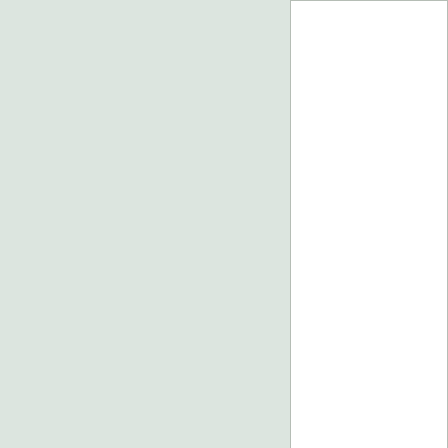[Figure (photo): Historical photograph (ca. 1884), partially visible, showing a view looking toward where the First Presbyterian church stood, with a building visible in the distance on the east side.]
(ca. 1884)^^^ -  View lool where the First Presbyte distance, on the east sic